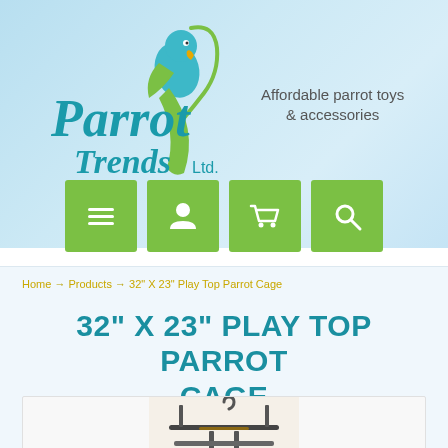[Figure (logo): Parrot Trends Ltd. logo with a stylized parrot illustration and teal script lettering]
Affordable parrot toys & accessories
[Figure (infographic): Four green navigation button icons: hamburger menu, user/account, shopping cart, and search magnifier]
Home → Products → 32" X 23" Play Top Parrot Cage
32" X 23" PLAY TOP PARROT CAGE
[Figure (photo): Partial product photo of a play top parrot cage showing the top perch/play area with dark metal bars]